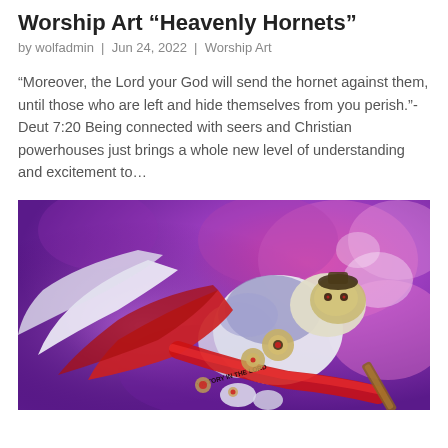Worship Art “Heavenly Hornets”
by wolfadmin | Jun 24, 2022 | Worship Art
“Moreover, the Lord your God will send the hornet against them, until those who are left and hide themselves from you perish.”-Deut 7:20 Being connected with seers and Christian powerhouses just brings a whole new level of understanding and excitement to…
[Figure (illustration): Colorful painting of a stylized wolf or dog figure in red cape and armor with a banner reading 'Victory in the Lord', set against a vivid purple and pink abstract background.]